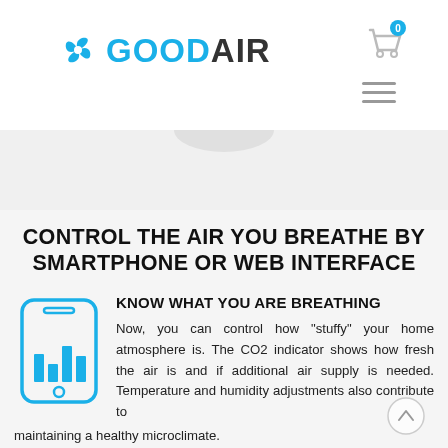[Figure (logo): GoodAir logo with blue fan/propeller icon and blue GOOD + dark AIR text]
[Figure (illustration): Shopping cart icon with '0' badge in blue circle, and hamburger menu icon (three horizontal lines)]
[Figure (illustration): Gray curved arc shape at bottom of header, partially visible]
CONTROL THE AIR YOU BREATHE BY SMARTPHONE OR WEB INTERFACE
[Figure (illustration): Blue outline smartphone icon with bar chart displayed on screen]
KNOW WHAT YOU ARE BREATHING
Now, you can control how "stuffy" your home atmosphere is. The CO2 indicator shows how fresh the air is and if additional air supply is needed. Temperature and humidity adjustments also contribute to maintaining a healthy microclimate.